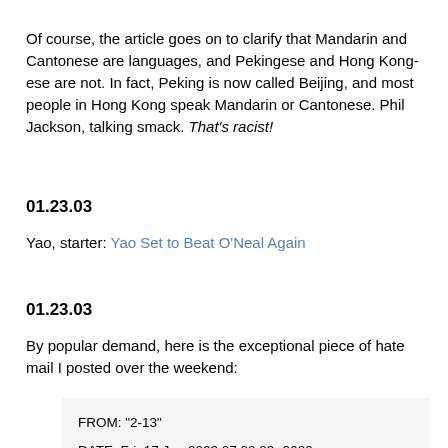Of course, the article goes on to clarify that Mandarin and Cantonese are languages, and Pekingese and Hong Kong-ese are not. In fact, Peking is now called Beijing, and most people in Hong Kong speak Mandarin or Cantonese. Phil Jackson, talking smack. That's racist!
01.23.03
Yao, starter: Yao Set to Beat O'Neal Again
01.23.03
By popular demand, here is the exceptional piece of hate mail I posted over the weekend:
FROM: "2-13"
DATE: Fri, 17 Jan 2003 07:00:03 -0600